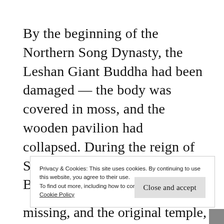By the beginning of the Northern Song Dynasty, the Leshan Giant Buddha had been damaged — the body was covered in moss, and the wooden pavilion had collapsed. During the reign of Song Renzong, the Giant Buddha was repaired … missing, and the original temple,
Privacy & Cookies: This site uses cookies. By continuing to use this website, you agree to their use.
To find out more, including how to control cookies, see here:
Cookie Policy
Close and accept